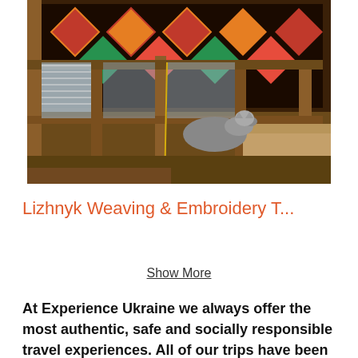[Figure (photo): A wooden weaving loom with colorful traditional Ukrainian textile/carpet patterns visible in the background, and a grey cat sleeping on one of the loom's wooden beams. The setting appears to be a traditional craft workshop.]
Lizhnyk Weaving & Embroidery T...
Show More
At Experience Ukraine we always offer the most authentic, safe and socially responsible travel experiences. All of our trips have been designed by us. We don't use other travel companies to lead our tours. We only use local guides and local